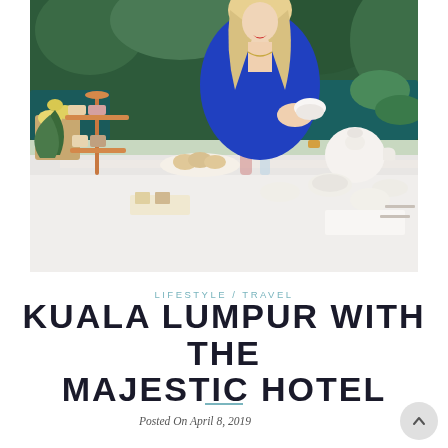[Figure (photo): Woman in blue dress sitting at outdoor afternoon tea table with tiered cake stand, scones, and white porcelain tea set with floral plants in background at The Majestic Hotel Kuala Lumpur]
LIFESTYLE / TRAVEL
KUALA LUMPUR WITH THE MAJESTIC HOTEL
Posted On April 8, 2019